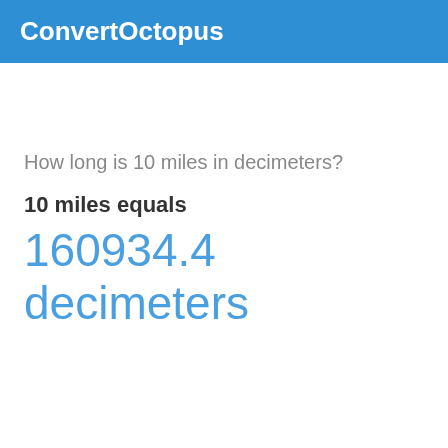ConvertOctopus
How long is 10 miles in decimeters?
10 miles equals
160934.4 decimeters